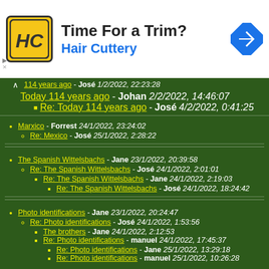[Figure (infographic): Advertisement banner for Hair Cuttery: 'Time For a Trim?' with HC logo and navigation icon]
114 years ago - José 1/2/2022, 22:23:28
Today 114 years ago - Johan 2/2/2022, 14:46:07
Re: Today 114 years ago - José 4/2/2022, 0:41:25
Marxico - Forrest 24/1/2022, 23:24:02
Re: Mexico - José 25/1/2022, 2:28:22
The Spanish Wittelsbachs - Jane 23/1/2022, 20:39:58
Re: The Spanish Wittelsbachs - José 24/1/2022, 2:01:01
Re: The Spanish Wittelsbachs - Jane 24/1/2022, 2:19:03
Re: The Spanish Wittelsbachs - José 24/1/2022, 18:24:42
Photo identifications - Jane 23/1/2022, 20:24:47
Re: Photo identifications - José 24/1/2022, 1:53:56
The brothers - Jane 24/1/2022, 2:12:53
Re: Photo identifications - manuel 24/1/2022, 17:45:37
Re: Photo identifications - Jane 25/1/2022, 13:29:18
Re: Photo identifications - manuel 25/1/2022, 10:26:28